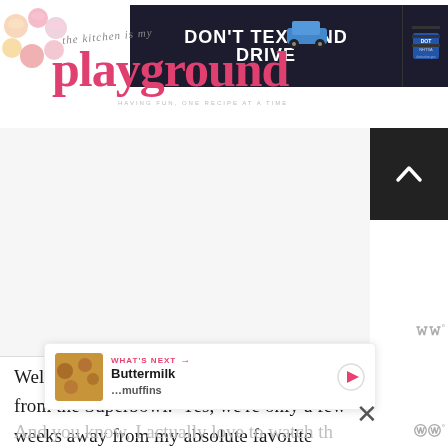the kitchen is my playground — HAVING FUN, ONE RECIPE AT A TIME
[Figure (screenshot): DON'T TEXT AND DRIVE ad banner with NHTSA logo]
[Figure (logo): The Kitchen is My Playground blog logo with cupcake decorations and pink cursive text reading 'playground']
Well folks, we're less than one month away from the Superbowl.  Yes, we're only a few weeks away from my absolute favorite sporting event.
And you know, I actually love to watch th…